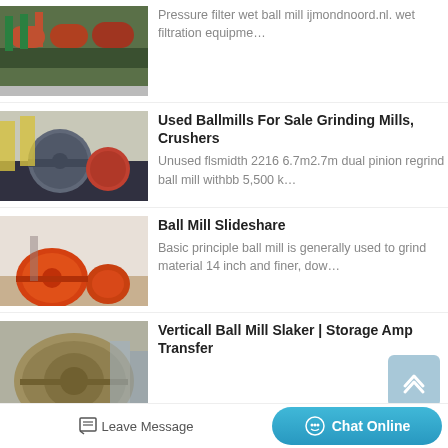[Figure (photo): Industrial ball mills and grinding equipment in red/orange colors]
Pressure filter wet ball mill ijmondnoord.nl. wet filtration equipme…
[Figure (photo): Large used ball mills for sale outdoors, gray cylindrical grinding mills]
Used Ballmills For Sale Grinding Mills, Crushers
Unused flsmidth 2216 6.7m2.7m dual pinion regrind ball mill withbb 5,500 k…
[Figure (photo): Orange ball mill slideshare industrial grinding equipment]
Ball Mill Slideshare
Basic principle ball mill is generally used to grind material 14 inch and finer, dow…
[Figure (photo): Vertical ball mill slaker storage amp transfer equipment]
Verticall Ball Mill Slaker | Storage Amp Transfer